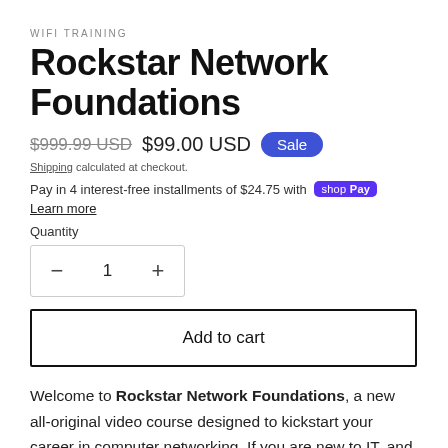WIFI TRAINING
Rockstar Network Foundations
$999.99 USD  $99.00 USD  Sale
Shipping calculated at checkout.
Pay in 4 interest-free installments of $24.75 with shop Pay  Learn more
Quantity
— 1 +
Add to cart
Welcome to Rockstar Network Foundations, a new all-original video course designed to kickstart your career in computer networking. If you are new to IT, and or thinking